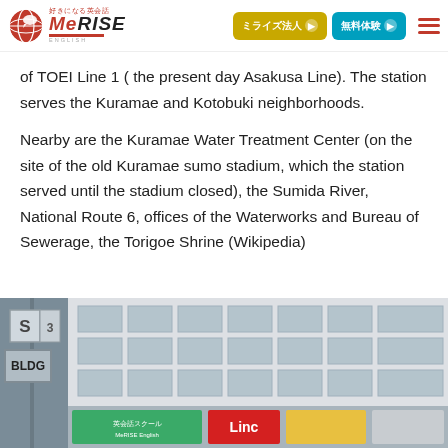MeRISE - 好きになる英会話 | ミライズ法人 | 無料体験
of TOEI Line 1 ( the present day Asakusa Line). The station serves the Kuramae and Kotobuki neighborhoods.
Nearby are the Kuramae Water Treatment Center (on the site of the old Kuramae sumo stadium, which the station served until the stadium closed), the Sumida River, National Route 6, offices of the Waterworks and Bureau of Sewerage, the Torigoe Shrine (Wikipedia)
[Figure (photo): Street-level photo of a building exterior with 'BLDG' sign on the left column, windows on the facade, and advertising banners at the bottom including a red 'Linc' sign.]